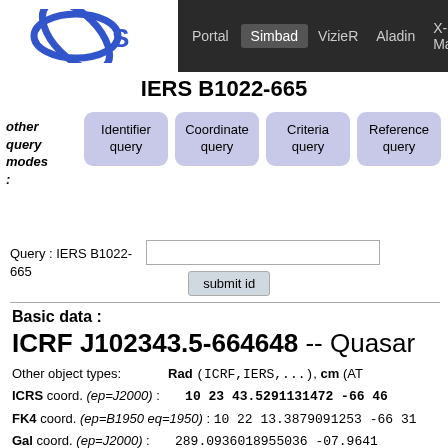Portal | Simbad | VizieR | Aladin | X-Match | Other
IERS B1022-665
other query modes: Identifier query | Coordinate query | Criteria query | Reference query | Basic query
Query : IERS B1022-665 [input field] submit id
Basic data :
ICRF J102343.5-664648 -- Quasar
Other object types: Rad (ICRF,IERS,...), cm (AT
ICRS coord. (ep=J2000) : 10 23 43.5291131472 -66 46
FK4 coord. (ep=B1950 eq=1950) : 10 22 13.3879091253 -66 31
Gal coord. (ep=J2000) : 289.0936018955036 -07.9641
Proper motions mas/yr : 1.585 0.087 [2.042 1.127 9
Flux (R)